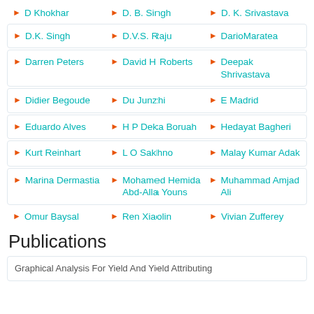D Khokhar
D. B. Singh
D. K. Srivastava
D.K. Singh
D.V.S. Raju
DarioMaratea
Darren Peters
David H Roberts
Deepak Shrivastava
Didier Begoude
Du Junzhi
E Madrid
Eduardo Alves
H P Deka Boruah
Hedayat Bagheri
Kurt Reinhart
L O Sakhno
Malay Kumar Adak
Marina Dermastia
Mohamed Hemida Abd-Alla Youns
Muhammad Amjad Ali
Omur Baysal
Ren Xiaolin
Vivian Zufferey
Publications
Graphical Analysis For Yield And Yield Attributing